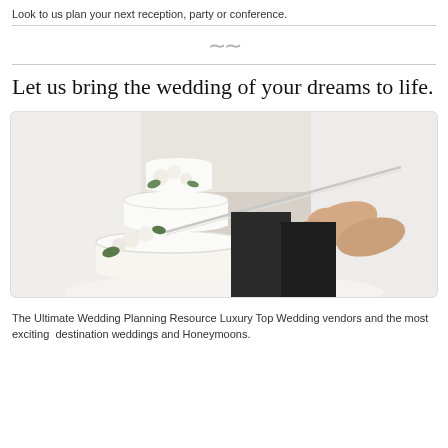Look to us plan your next reception, party or conference.
[Figure (photo): A couple cutting a white multi-tiered wedding cake decorated with white flowers, using a long knife/sword. The cake is on a table, and the background shows a bright outdoor or indoor event setting.]
Let us bring the wedding of your dreams to life.
The Ultimate Wedding Planning Resource Luxury Top Wedding vendors and the most exciting destination weddings and Honeymoons.